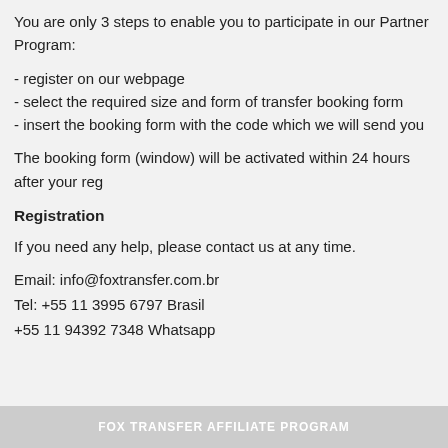You are only 3 steps to enable you to participate in our Partner Program:
- register on our webpage
- select the required size and form of transfer booking form
- insert the booking form with the code which we will send you
The booking form (window) will be activated within 24 hours after your reg
Registration
If you need any help, please contact us at any time.
Email: info@foxtransfer.com.br
Tel: +55 11 3995 6797 Brasil
+55 11 94392 7348 Whatsapp
FOX TRANSFER AFFILIATE PROGRAM